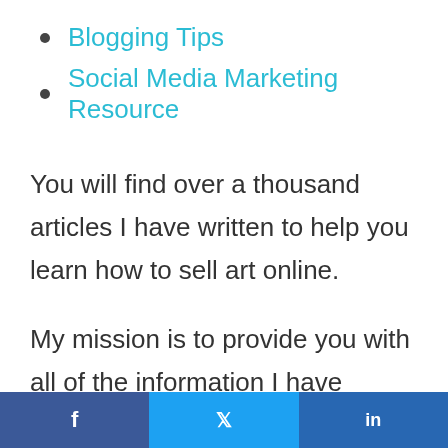Blogging Tips
Social Media Marketing Resource
You will find over a thousand articles I have written to help you learn how to sell art online.
My mission is to provide you with all of the information I have learned over the past fifteen-plus years to help you
f        ♥        in